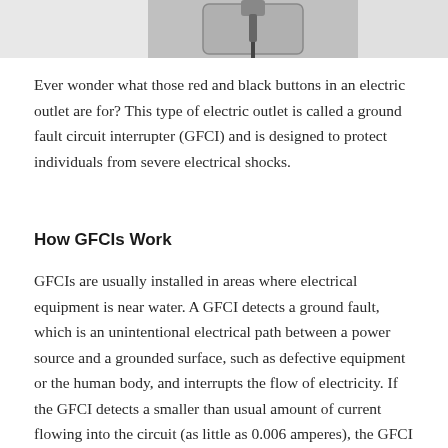[Figure (photo): Partial photo of a GFCI electrical outlet showing red and black buttons, cropped at the top of the page]
Ever wonder what those red and black buttons in an electric outlet are for? This type of electric outlet is called a ground fault circuit interrupter (GFCI) and is designed to protect individuals from severe electrical shocks.
How GFCIs Work
GFCIs are usually installed in areas where electrical equipment is near water. A GFCI detects a ground fault, which is an unintentional electrical path between a power source and a grounded surface, such as defective equipment or the human body, and interrupts the flow of electricity. If the GFCI detects a smaller than usual amount of current flowing into the circuit (as little as 0.006 amperes), the GFCI interrupts power flowing from the outlet. The GFCI acts fast enough to keep electricity from